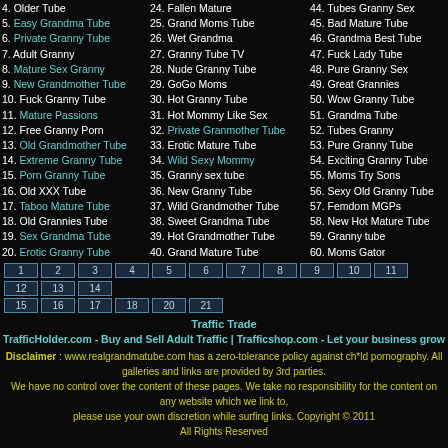4. Older Tube  24. Fallen Mature  44. Tubes Granny Sex
5. Easy Grandma Tube  25. Grand Moms Tube  45. Bad Mature Tube
6. Private Granny Tube  26. Wet Grandma  46. Grandma Best Tube
7. Adult Granny  27. Granny Tube TV  47. Fuck Lady Tube
8. Mature Sex Granny  28. Nude Granny Tube  48. Pure Granny Sex
9. New Grandmother Tube  29. GoGo Moms  49. Great Grannies
10. Fuck Granny Tube  30. Hot Granny Tube  50. Wow Granny Tube
11. Mature Passions  31. Hot Mommy Like Sex  51. Grandma Tube
12. Free Granny Porn  32. Private Granmother Tube  52. Tubes Granny
13. Old Grandmother Tube  33. Erotic Mature Tube  53. Pure Granny Tube
14. Extreme Granny Tube  34. Wild Sexy Mommy  54. Exciting Granny Tube
15. Porn Granny Tube  35. Granny sex tube  55. Moms Try Sons
16. Old XXX Tube  36. New Granny Tube  56. Sexy Old Granny Tube
17. Taboo Mature Tube  37. Wild Grandmother Tube  57. Femdom MGPs
18. Old Grannies Tube  38. Sweet Grandma Tube  58. New Hot Mature Tube
19. Sex Grandma Tube  39. Hot Grandmother Tube  59. Granny tube
20. Erotic Granny Tube  40. Grand Mature Tube  60. Moms Gator
Pagination: 1 2 3 4 5 6 7 8 9 10 11 12 13 14 15 16 17 18 20 21
Traffic Trade
TrafficHolder.com - Buy and Sell Adult Traffic | Trafficshop.com - Let your business grow
Disclaimer : www.realgrandmatube.com has a zero-tolerance policy against ch*ld pornography. All galleries and links are provided by 3rd parties. We have no control over the content of these pages. We take no responsibility for the content on any website which we link to, please use your own discretion while surfing links. Copyright © 2011 All Rights Reserved